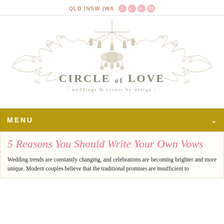QLD |NSW |WA
[Figure (logo): Circle of Love weddings & events by design logo with chandelier and ornate scrollwork]
MENU
5 Reasons You Should Write Your Own Vows
Wedding trends are constantly changing, and celebrations are becoming brighter and more unique. Modern couples believe that the traditional promises are insufficient to